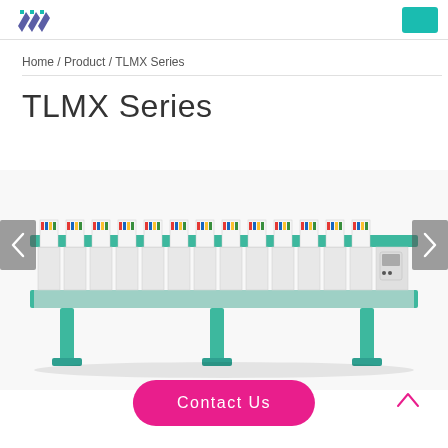Logo | Teal button
Home / Product / TLMX Series
TLMX Series
[Figure (photo): TLMX Series embroidery machine, long flatbed style with multiple heads in teal/green color, multiple thread spools visible on top, shown from front perspective on white background]
Contact Us